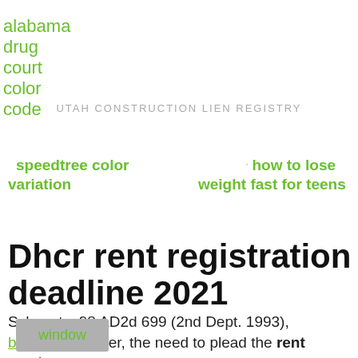alabama drug court color code
UTAH CONSTRUCTION LIEN REGISTRY
speedtree color variation
how to lose weight fast for teens
Dhcr rent registration deadline 2021
Schwartz, 98 AD2d 699 (2nd Dept. 1993), however, the need to plead the rent regulatory
window